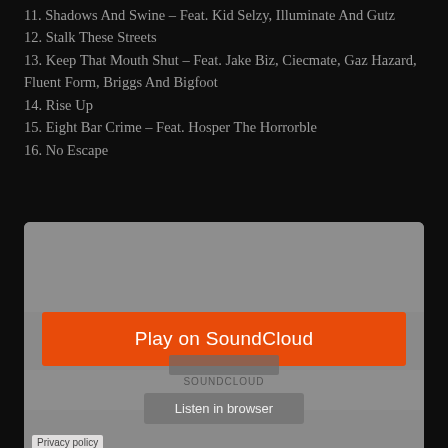11. Shadows And Swine – Feat. Kid Selzy, Illuminate And Gutz
12. Stalk These Streets
13. Keep That Mouth Shut – Feat. Jake Biz, Ciecmate, Gaz Hazard, Fluent Form, Briggs And Bigfoot
14. Rise Up
15. Eight Bar Crime – Feat. Hosper The Horrorble
16. No Escape
[Figure (screenshot): SoundCloud embedded player widget with orange 'Play on SoundCloud' button and grey 'Listen in browser' button. Privacy policy link at bottom left.]